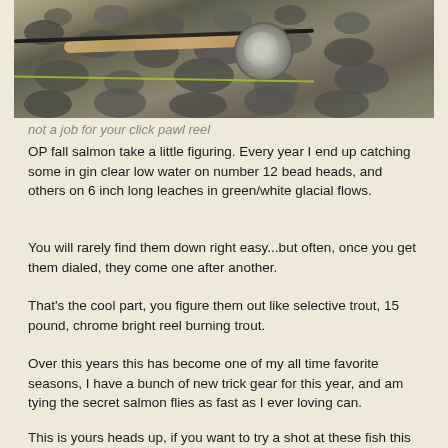[Figure (photo): A fly fishing rod and reel resting on wet river rocks, with a fishing line visible on the ground.]
not a job for your click pawl reel
OP fall salmon take a little figuring.  Every year I end up catching some in gin clear low water on number 12 bead heads, and others on 6 inch long leaches in green/white glacial flows.
You will rarely find them down right easy...but often, once you get them dialed, they come one after another.
That's the cool part, you figure them out like selective trout,  15 pound, chrome bright reel burning trout.
Over this years this has become one of my all time favorite seasons, I have a bunch of new trick gear for this year, and am tying the secret salmon flies as fast as I ever loving can.
This is yours heads up, if you want to try a shot at these fish this fall, give us a call or email soon!